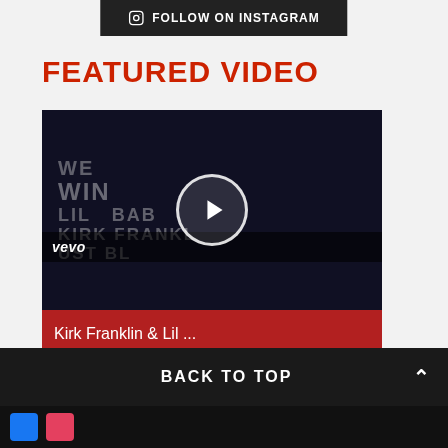FOLLOW ON INSTAGRAM
FEATURED VIDEO
[Figure (screenshot): Video thumbnail showing text WE WIN LIL BABY KIRK FRANKLIN JUST BLM in bold letters on a white surface with dark overlay and a white circular play button in center. Vevo logo in bottom-left. Red bar at bottom reads 'Kirk Franklin & Lil ...']
BACK TO TOP